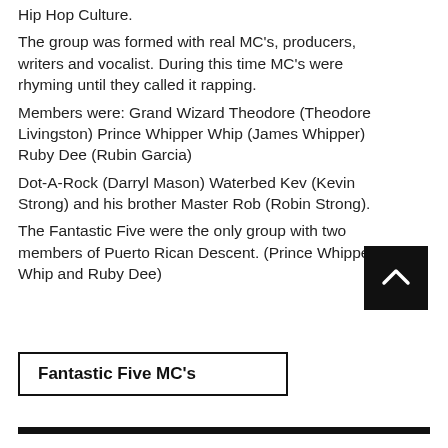Hip Hop Culture.
The group was formed with real MC's, producers, writers and vocalist. During this time MC's were rhyming until they called it rapping.
Members were: Grand Wizard Theodore (Theodore Livingston) Prince Whipper Whip (James Whipper) Ruby Dee (Rubin Garcia)
Dot-A-Rock (Darryl Mason) Waterbed Kev (Kevin Strong) and his brother Master Rob (Robin Strong).
The Fantastic Five were the only group with two members of Puerto Rican Descent. (Prince Whipper Whip and Ruby Dee)
[Figure (other): Black square button with a white upward-pointing chevron arrow, for navigation back to top]
Fantastic Five MC's